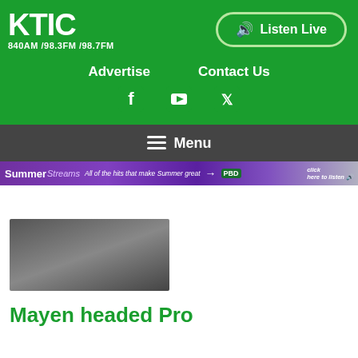[Figure (logo): KTIC radio logo in white text on green background, with frequencies 840AM / 98.3FM / 98.7FM]
[Figure (other): Listen Live button with speaker icon, green background with rounded border]
Advertise    Contact Us
[Figure (other): Social media icons: Facebook, YouTube, Twitter in white on green background]
[Figure (other): Menu bar with hamburger icon and Menu text on dark background]
[Figure (other): Summer Streams banner advertisement strip in purple with text and PB logo]
[Figure (photo): Dark thumbnail image placeholder]
Mayen headed Pro